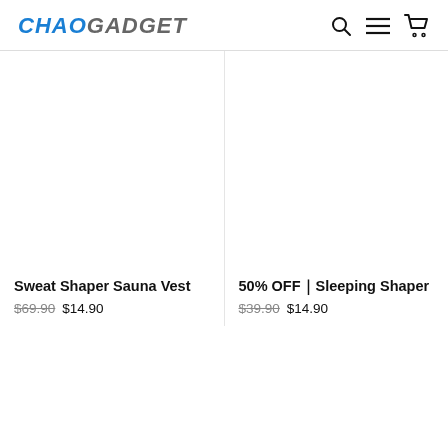CHAO GADGET
[Figure (other): Product image area for Sweat Shaper Sauna Vest (blank/white)]
Sweat Shaper Sauna Vest
$69.90  $14.90
[Figure (other): Product image area for 50% OFF Sleeping Shaper (blank/white)]
50% OFF｜Sleeping Shaper
$39.90  $14.90